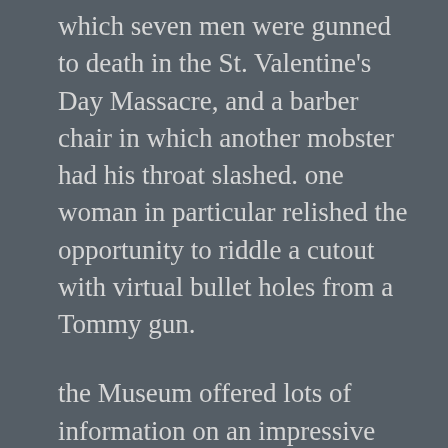which seven men were gunned to death in the St. Valentine's Day Massacre, and a barber chair in which another mobster had his throat slashed. one woman in particular relished the opportunity to riddle a cutout with virtual bullet holes from a Tommy gun.
the Museum offered lots of information on an impressive array of topics — wire tapping, money skimming, gambling tricks, Mob killings, Mob hierarchy and succession, the Mob in movies (including a story of how a consultant on one film ended up recreating his own crime for the movie) — but, in the end, as an historian, I found myself wanting much more about the history of the Mob in Vegas. maybe I should have gone to the Nevada State